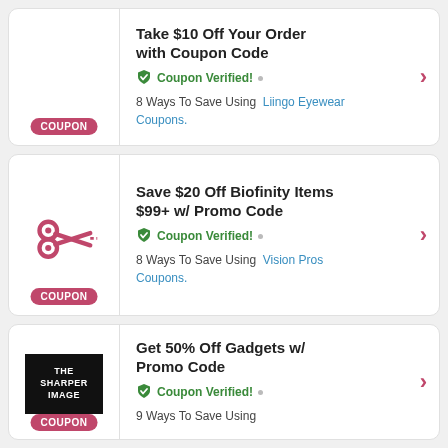Take $10 Off Your Order with Coupon Code
Coupon Verified! • 8 Ways To Save Using Liingo Eyewear Coupons.
Save $20 Off Biofinity Items $99+ w/ Promo Code
Coupon Verified! • 8 Ways To Save Using Vision Pros Coupons.
Get 50% Off Gadgets w/ Promo Code
Coupon Verified! • 9 Ways To Save Using